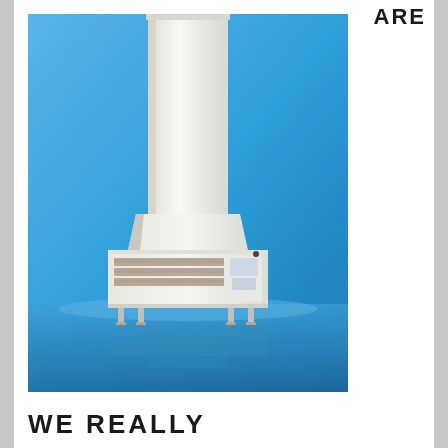ARE
[Figure (photo): A tall white industrial air handling or filtration unit with a tall vertical duct/column rising from a rectangular base unit with ventilation grilles, photographed against a blue gradient background]
WE REALLY